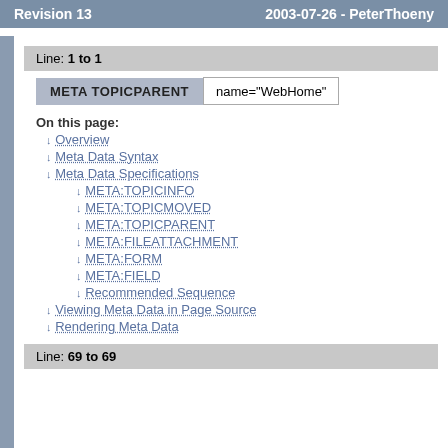Revision 13    2003-07-26 - PeterThoeny
Line: 1 to 1
| META TOPICPARENT | name="WebHome" |
| --- | --- |
On this page:
Overview
Meta Data Syntax
Meta Data Specifications
META:TOPICINFO
META:TOPICMOVED
META:TOPICPARENT
META:FILEATTACHMENT
META:FORM
META:FIELD
Recommended Sequence
Viewing Meta Data in Page Source
Rendering Meta Data
Line: 69 to 69